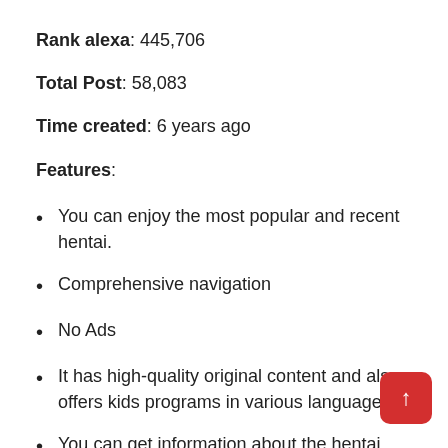Rank alexa: 445,706
Total Post: 58,083
Time created: 6 years ago
Features:
You can enjoy the most popular and recent hentai.
Comprehensive navigation
No Ads
It has high-quality original content and also offers kids programs in various languages.
You can get information about the hentai by comments and ratings.
It is one of the best hentai sites which offers